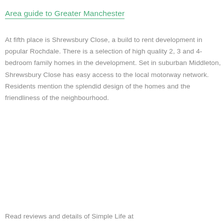Area guide to Greater Manchester
At fifth place is Shrewsbury Close, a build to rent development in popular Rochdale. There is a selection of high quality 2, 3 and 4-bedroom family homes in the development. Set in suburban Middleton, Shrewsbury Close has easy access to the local motorway network. Residents mention the splendid design of the homes and the friendliness of the neighbourhood.
Read reviews and details of Simple Life at